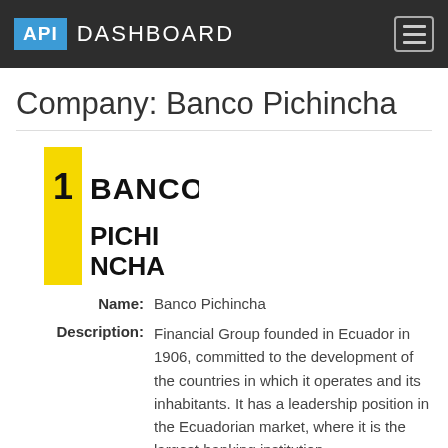API DASHBOARD
Company: Banco Pichincha
[Figure (logo): Banco Pichincha logo: yellow vertical bar with number 1 and bold text BANCO PICHINCHA in black]
Name: Banco Pichincha
Description: Financial Group founded in Ecuador in 1906, committed to the development of the countries in which it operates and its inhabitants. It has a leadership position in the Ecuadorian market, where it is the largest banking institution.
Company URL: https://www.pichincha.com/portal/inicio